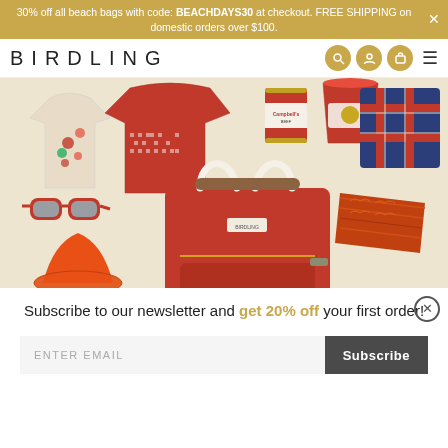30% off all beach bags with code: BEACHDAYS30 at checkout. FREE SHIPPING on domestic orders over $100.
[Figure (logo): BIRDLING logo with navigation icons (search, account, cart) and hamburger menu]
[Figure (photo): Product collage featuring red beach bag, t-shirt, red sweater, Campbell's soup can, red bucket, tartan pillow, red sunglasses, orange hat, orange folded blanket on beige background]
Subscribe to our newsletter and get 20% off your first order!
ENTER EMAIL
Subscribe